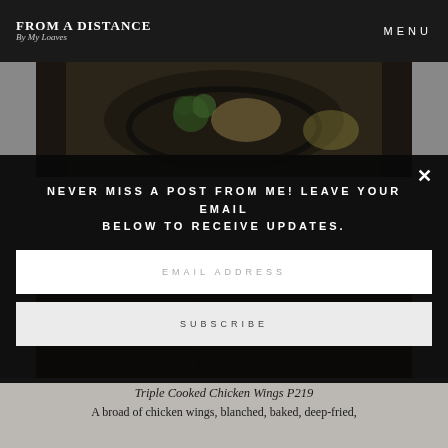FROM A DISTANCE | MENU
[Figure (photo): Overhead food photograph showing a dark bowl with broccoli, grains, and other ingredients on a dark background]
NEVER MISS A POST FROM ME! LEAVE YOUR EMAIL BELOW TO RECEIVE UPDATES.
EMAIL ADDRESS
SUBSCRIBE
[Figure (photo): Dark wooden surface table photograph]
Triple Cooked Chicken Wings P219
A broad of chicken wings, blanched, baked, deep-fried,